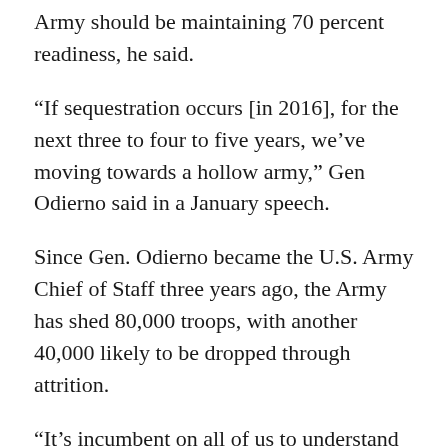Army should be maintaining 70 percent readiness, he said.
“If sequestration occurs [in 2016], for the next three to four to five years, we’ve moving towards a hollow army,” Gen Odierno said in a January speech.
Since Gen. Odierno became the U.S. Army Chief of Staff three years ago, the Army has shed 80,000 troops, with another 40,000 likely to be dropped through attrition.
“It’s incumbent on all of us to understand that further reductions simply will put us into a place we simply cannot go,” he said earlier this month.  In 2016, when